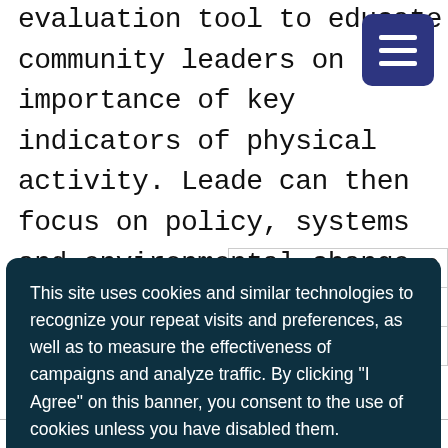evaluation tool to educate community leaders on the importance of key indicators of physical activity. Leaders can then focus on policy, systems and environmental change (PSE) strategies that are evidence-based and create sustainability for the community.
[Figure (screenshot): Navigation menu button (hamburger icon) in dark navy blue square, top right corner]
This site uses cookies and similar technologies to recognize your repeat visits and preferences, as well as to measure the effectiveness of campaigns and analyze traffic. By clicking "I Agree" on this banner, you consent to the use of cookies unless you have disabled them. Privacy Policy
| 016 | core |
| 7.9 |  |